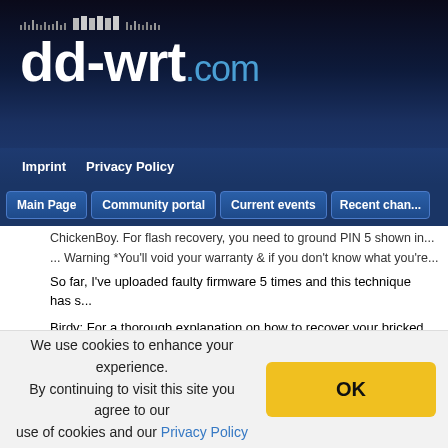[Figure (logo): dd-wrt.com logo with decorative dot/bar pattern above, white bold text 'dd-wrt' and blue '.com' on dark navy background]
Imprint   Privacy Policy
Main Page   Community portal   Current events   Recent chan...
...ChickenBoy. For flash recovery, you need to ground PIN 5 shown in...
... Warning *You'll void your warranty & if you don't know what you're...
So far, I've uploaded faulty firmware 5 times and this technique has s...
Birdy: For a thorough explanation on how to recover your bricked As... wrt.com/phpBB2/viewtopic.php?t=2507
Posted by Atreus on 12-24-07 on WL-500G Premium and D...
This router is VERY easy to flash, especially from a Linux box. Most... specifically aimed at Linux users, providing an easy way to flash the...
We use cookies to enhance your experience. By continuing to visit this site you agree to our use of cookies and our Privacy Policy